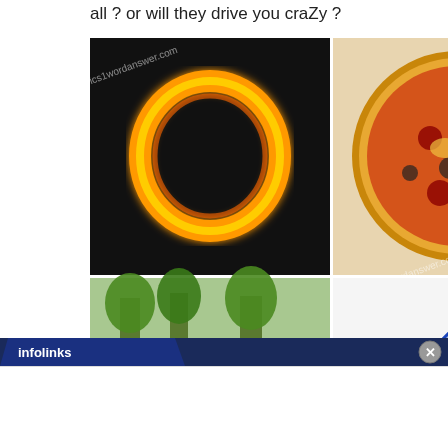all ? or will they drive you craZy ?
[Figure (photo): Four photos arranged in a 2x2 grid. Top-left: glowing ring of fire on black background with watermark '4pics1wordanswer.com'. Top-right: pepperoni pizza with toppings and watermark. Bottom-left: animals/elephants in a zoo enclosure with trees and watermark. Bottom-right: two blue disposable razors on white background with watermark '4pics1wordanswer.com'.]
100 PICS Quiz – 10,000 Quizzes – Biggest free guess the picture puzzle game ever. Iphone and Android Pop Apps 2015 By Poptacular Ltd
[Figure (screenshot): Infolinks banner bar at bottom with dark blue background and white text 'infolinks', with a grey close button (X) on the right side.]